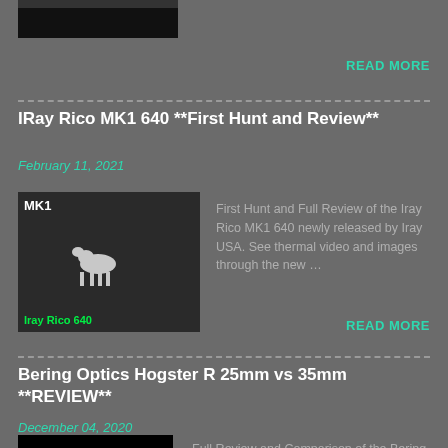[Figure (photo): Thumbnail image at top — dark/black rectangle, partially cropped]
READ MORE
IRay Rico MK1 640 **First Hunt and Review**
February 11, 2021
[Figure (photo): Thumbnail of IRay Rico 640 thermal image showing an animal silhouette against dark background with green label text]
First Hunt and Full Review of the Iray Rico MK1 640 newly released by Iray USA. See thermal video and images through the new…
READ MORE
Bering Optics Hogster R 25mm vs 35mm **REVIEW**
December 04, 2020
[Figure (photo): Thumbnail labeled Bering Optics Hogster R on black background]
Full Review and Comparison of the Bering